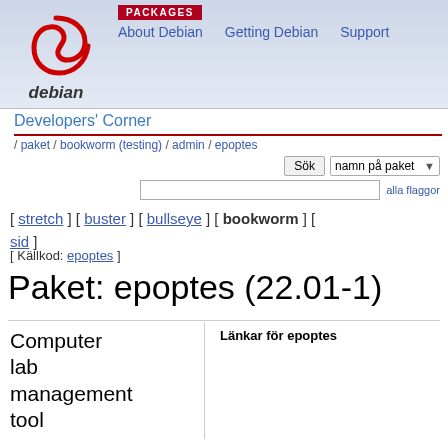PACKAGES
About Debian   Getting Debian   Support
[Figure (logo): Debian swirl logo and 'debian' text]
Developers' Corner
/ paket / bookworm (testing) / admin / epoptes
Sök  namn på paket  alla flaggor
[ stretch ] [ buster ] [ bullseye ] [ bookworm ] [ sid ]
[ Källkod: epoptes ]
Paket: epoptes (22.01-1)
Computer lab management tool
Länkar för epoptes